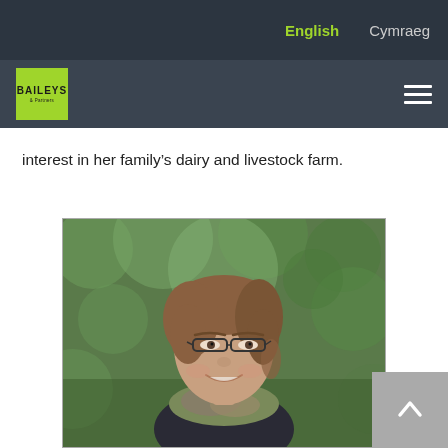English | Cymraeg
[Figure (logo): Baileys & Partners logo - green square with BAILEYS text]
interest in her family's dairy and livestock farm.
[Figure (photo): Portrait photo of a woman with short brown hair and glasses, smiling, wearing a colorful scarf, outdoors with green foliage background]